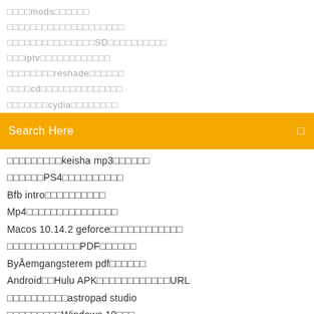□□□□mods□□□□□□
□□□□□□□□□□□□□□□□□□□□
□□□□□□□□□□□□□□□SD□□□□□□□□□□
□□□iptv□□□□□□□□□□□□
□□□□□□□□reshade□□□□□□
□□□□cd□□□□□□□□□□□□□□
□□□□□□□cydia□□□□□□□□
[Figure (screenshot): Orange search bar with 'Search Here' placeholder text and a search icon on the right]
□□□□□□□□□keisha mp3□□□□□□
□□□□□□PS4□□□□□□□□□□□
Bfb intro□□□□□□□□□□
Mp4□□□□□□□□□□□□□□□
Macos 10.14.2 geforce□□□□□□□□□□□□
□□□□□□□□□□□□□PDF□□□□□□
ByÅemgangsterem pdf□□□□□□
Android□□Hulu APK□□□□□□□□□□□□URL
□□□□□□□□□□astropad studio
□□□□□□□□□Windows 10□□□